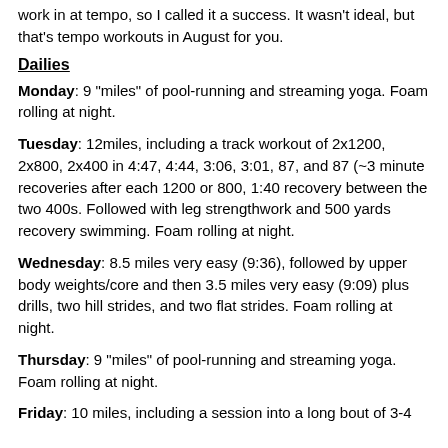work in at tempo, so I called it a success.   It wasn't ideal, but that's tempo workouts in August for you.
Dailies
Monday: 9 "miles" of pool-running and streaming yoga. Foam rolling at night.
Tuesday: 12miles, including a track workout of 2x1200, 2x800, 2x400 in 4:47, 4:44, 3:06, 3:01, 87, and 87  (~3 minute recoveries after each 1200 or 800, 1:40 recovery between the two 400s.   Followed with leg strengthwork and 500 yards recovery swimming.  Foam rolling at night.
Wednesday:  8.5 miles very easy (9:36), followed by upper body weights/core and then 3.5 miles very easy (9:09) plus drills, two hill strides, and two flat strides.   Foam rolling at night.
Thursday:  9 "miles" of pool-running and streaming yoga. Foam rolling at night.
Friday: 10 miles, including a session into a long bout of 3-4...